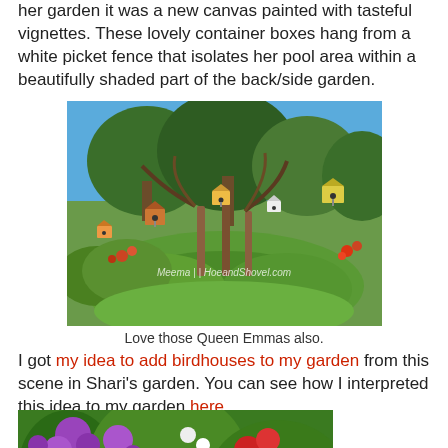her garden it was a new canvas painted with tasteful vignettes. These lovely container boxes hang from a white picket fence that isolates her pool area within a beautifully shaded part of the back/side garden.
[Figure (photo): Garden scene with birdhouses on poles, Queen Emma plants, colorful flowers and lush green shrubs. Watermark reads MeemaNHoeandShovel.com]
Love those Queen Emmas also.
I got my idea to add birdhouses to my garden from this scene in Shari's garden. You can see how I interpreted this idea to my garden here.
[Figure (photo): Close-up photo of purple and red flowers in a garden, with green foliage in the background.]